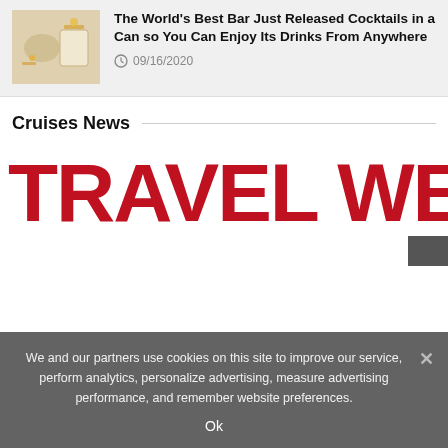[Figure (photo): Thumbnail image of cocktail drinks on a light background with decorative elements]
The World's Best Bar Just Released Cocktails in a Can so You Can Enjoy Its Drinks From Anywhere
09/16/2020
Cruises News
[Figure (logo): Travel Weekly logo in bold red uppercase letters]
We and our partners use cookies on this site to improve our service, perform analytics, personalize advertising, measure advertising performance, and remember website preferences.
Ok